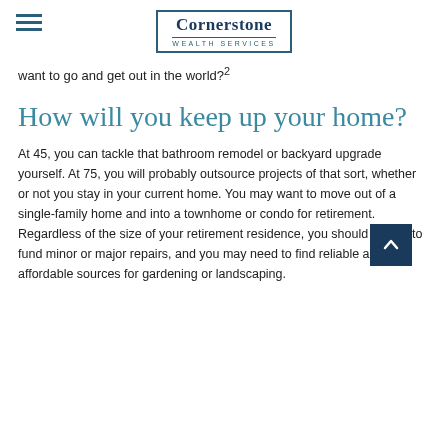Cornerstone WEALTH SERVICES
want to go and get out in the world?2
How will you keep up your home?
At 45, you can tackle that bathroom remodel or backyard upgrade yourself. At 75, you will probably outsource projects of that sort, whether or not you stay in your current home. You may want to move out of a single-family home and into a townhome or condo for retirement. Regardless of the size of your retirement residence, you should expect to fund minor or major repairs, and you may need to find reliable and affordable sources for gardening or landscaping.